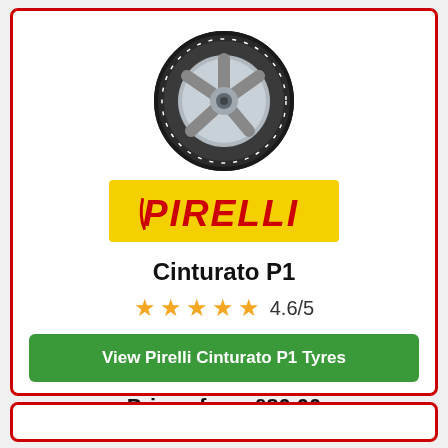[Figure (photo): Pirelli Cinturato P1 tyre product photo showing a car tyre with alloy wheel]
[Figure (logo): Pirelli logo in red text on yellow background]
Cinturato P1
4.6/5 (5 star rating)
View Pirelli Cinturato P1 Tyres
Prices from £80.00